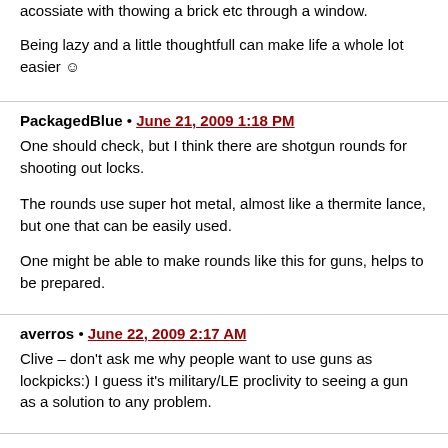acossiate with thowing a brick etc through a window.

Being lazy and a little thoughtfull can make life a whole lot easier ☺
PackagedBlue • June 21, 2009 1:18 PM
One should check, but I think there are shotgun rounds for shooting out locks.

The rounds use super hot metal, almost like a thermite lance, but one that can be easily used.

One might be able to make rounds like this for guns, helps to be prepared.
averros • June 22, 2009 2:17 AM
Clive – don't ask me why people want to use guns as lockpicks:) I guess it's military/LE proclivity to seeing a gun as a solution to any problem.